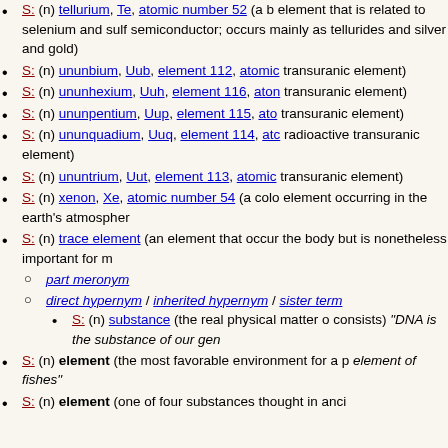S: (n) tellurium, Te, atomic number 52 (a brittle silver-white metalloid element that is related to selenium and sulfur; it is used in alloys and as a semiconductor; occurs mainly as tellurides in ores of copper and nickel and silver and gold)
S: (n) ununbium, Uub, element 112, atomic number 112 (a radioactive transuranic element)
S: (n) ununhexium, Uuh, element 116, atomic number 116 (a radioactive transuranic element)
S: (n) ununpentium, Uup, element 115, atomic number 115 (a radioactive transuranic element)
S: (n) ununquadium, Uuq, element 114, atomic number 114 (a radioactive transuranic element)
S: (n) ununtrium, Uut, element 113, atomic number 113 (a radioactive transuranic element)
S: (n) xenon, Xe, atomic number 54 (a colorless odorless inert gaseous element occurring in the earth's atmosphere in trace amounts)
S: (n) trace element (an element that occurs in only minute quantities in the body but is nonetheless important for many physiological processes)
part meronym
direct hypernym / inherited hypernym / sister term
S: (n) substance (the real physical matter of which a person or thing consists) "DNA is the substance of our genes"
S: (n) element (the most favorable environment for a person or thing) "a fish out of water is not in its element of fishes"
S: (n) element (one of four substances thought in ancient and medieval cosmology to constitute the physical universe)